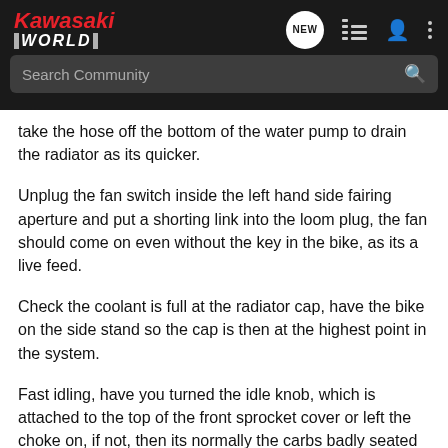Kawasaki World - New - List - User - More
take the hose off the bottom of the water pump to drain the radiator as its quicker.
Unplug the fan switch inside the left hand side fairing aperture and put a shorting link into the loom plug, the fan should come on even without the key in the bike, as its a live feed.
Check the coolant is full at the radiator cap, have the bike on the side stand so the cap is then at the highest point in the system.
Fast idling, have you turned the idle knob, which is attached to the top of the front sprocket cover or left the choke on, if not, then its normally the carbs badly seated or an air pipe under the carbs is loose and its sucking air in.